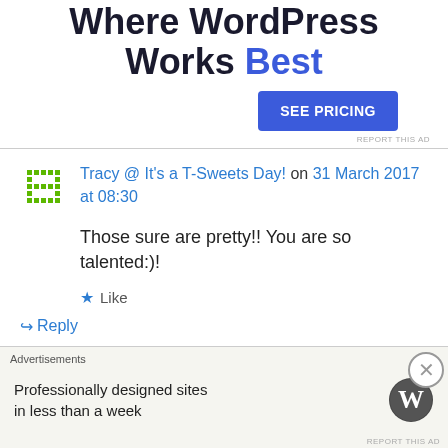[Figure (other): Advertisement banner: 'Where WordPress Works Best' with a blue 'SEE PRICING' button]
REPORT THIS AD
Tracy @ It's a T-Sweets Day! on 31 March 2017 at 08:30
Those sure are pretty!! You are so talented:)!
Like
Reply
Angie Hubbard on 31 March 2017 at 11:21
Advertisements
Professionally designed sites in less than a week